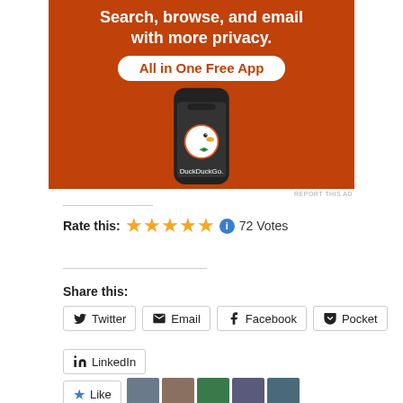[Figure (illustration): DuckDuckGo advertisement banner with orange background showing a smartphone with DuckDuckGo app logo and text: 'Search, browse, and email with more privacy. All in One Free App']
REPORT THIS AD
Rate this: ★★★★★ ℹ 72 Votes
Share this:
Twitter
Email
Facebook
Pocket
LinkedIn
Like